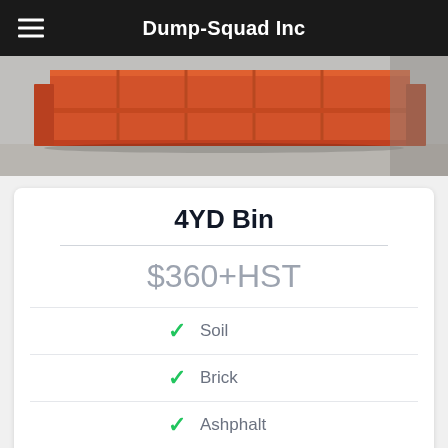Dump-Squad Inc
[Figure (photo): Orange roll-off dumpster bin on a concrete surface, photographed from the front/side angle.]
4YD Bin
$360+HST
Soil
Brick
Ashphalt
Concrete